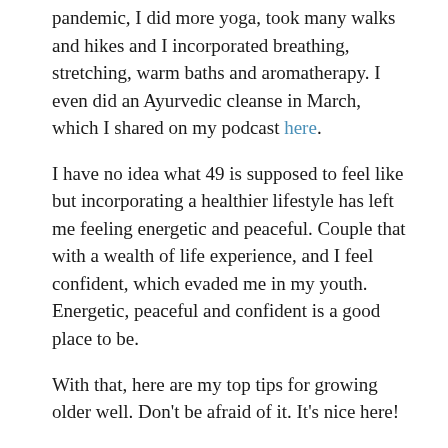pandemic, I did more yoga, took many walks and hikes and I incorporated breathing, stretching, warm baths and aromatherapy. I even did an Ayurvedic cleanse in March, which I shared on my podcast here.
I have no idea what 49 is supposed to feel like but incorporating a healthier lifestyle has left me feeling energetic and peaceful. Couple that with a wealth of life experience, and I feel confident, which evaded me in my youth. Energetic, peaceful and confident is a good place to be.
With that, here are my top tips for growing older well. Don't be afraid of it. It's nice here!
Keep Moving – What you do now for exercise might not be the workouts of your youth, and that's okay. What I've discovered in my later 40s is I don't have to do the hard workouts I did in my